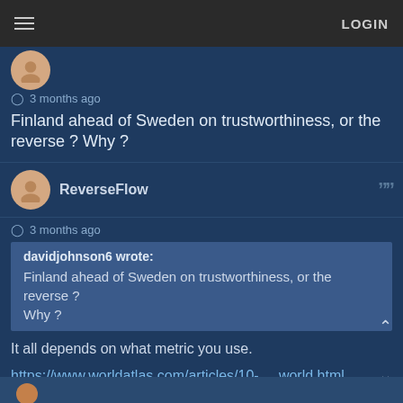LOGIN
3 months ago
Finland ahead of Sweden on trustworthiness, or the reverse ? Why ?
ReverseFlow
3 months ago
davidjohnson6 wrote: Finland ahead of Sweden on trustworthiness, or the reverse ? Why ?
It all depends on what metric you use.
https://www.worldatlas.com/articles/10- ... world.html
No placing in there for your Russia.
There are of course other indexes where Sweden and Finland are mistly in the top ten if not top five.